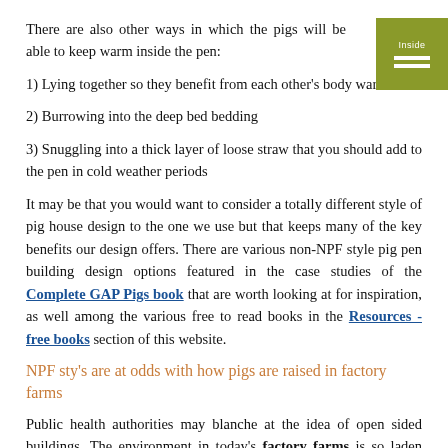There are also other ways in which the pigs will be able to keep warm inside the pen:
1) Lying together so they benefit from each other's body warmth
2) Burrowing into the deep bed bedding
3) Snuggling into a thick layer of loose straw that you should add to the pen in cold weather periods
It may be that you would want to consider a totally different style of pig house design to the one we use but that keeps many of the key benefits our design offers. There are various non-NPF style pig pen building design options featured in the case studies of the Complete GAP Pigs book that are worth looking at for inspiration, as well among the various free to read books in the Resources - free books section of this website.
NPF sty's are at odds with how pigs are raised in factory farms
Public health authorities may blanche at the idea of open sided buildings. The environment in today's factory farms is so laden with deadly bacteria, virus's